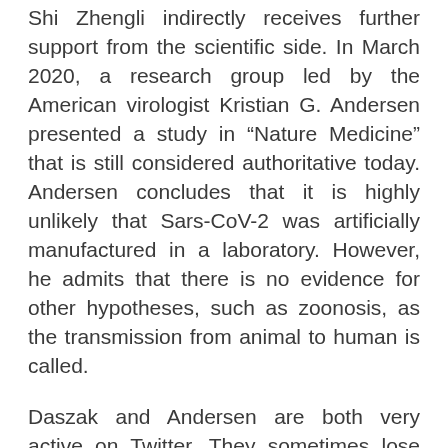Shi Zhengli indirectly receives further support from the scientific side. In March 2020, a research group led by the American virologist Kristian G. Andersen presented a study in “Nature Medicine” that is still considered authoritative today. Andersen concludes that it is highly unlikely that Sars-CoV-2 was artificially manufactured in a laboratory. However, he admits that there is no evidence for other hypotheses, such as zoonosis, as the transmission from animal to human is called.
Daszak and Andersen are both very active on Twitter. They sometimes lose their academic composure on the social media channel. As soon as someone makes himself known who brings laboratory theory into play, he is covered by the two of them with comments, which are mostly somewhere between smug and disparaging.